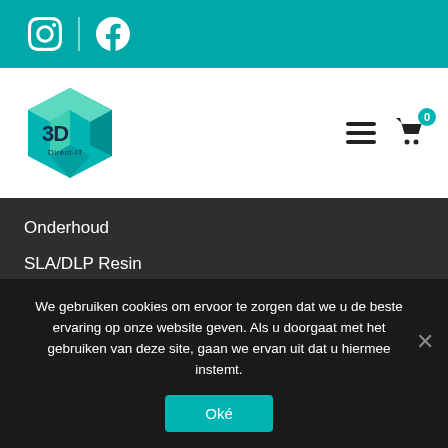Instagram | Facebook social icons header bar
[Figure (logo): 3D Direct-IT hexagonal logo in teal/green colors]
Onderhoud
SLA/DLP Resin
Legale informatie
Algemene voorwaarden
Verzend- en leveringsbeleid
We gebruiken cookies om ervoor te zorgen dat we u de beste ervaring op onze website geven. Als u doorgaat met het gebruiken van deze site, gaan we ervan uit dat u hiermee instemt.
Oké